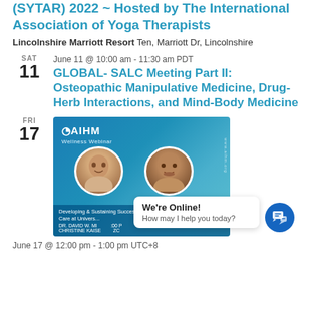(SYTAR) 2022 ~ Hosted by The International Association of Yoga Therapists
Lincolnshire Marriott Resort Ten, Marriott Dr, Lincolnshire
SAT
11
June 11 @ 10:00 am - 11:30 am PDT
GLOBAL- SALC Meeting Part II: Osteopathic Manipulative Medicine, Drug-Herb Interactions, and Mind-Body Medicine
FRI
17
[Figure (photo): AIHM Wellness Webinar banner showing two speakers (a woman and a man) with text 'Developing & Sustaining Successful Integrative Care at University...' and presenters 'DR. DAVID W. MI...' and 'CHRISTINE KAISE...' dated JUNE 17, 2022 with a chat bubble overlay 'We're Online! How may I help you today?']
June 17 @ 12:00 pm - 1:00 pm UTC+8